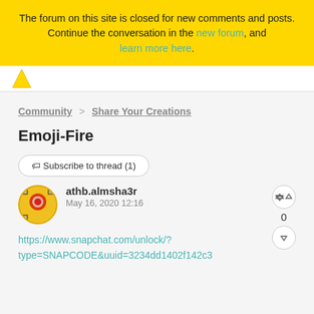The forum on this site is closed for new comments and posts. Continue the conversation in the new forum, and learn more here.
Community > Share Your Creations
Emoji-Fire
Subscribe to thread (1)
athb.almsha3r
May 16, 2020 12:16
https://www.snapchat.com/unlock/?type=SNAPCODE&uuid=3234dd1402f142c3